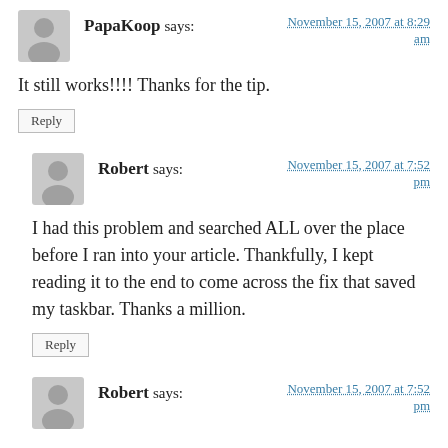PapaKoop says: November 15, 2007 at 8:29 am
It still works!!!! Thanks for the tip.
Reply
Robert says: November 15, 2007 at 7:52 pm
I had this problem and searched ALL over the place before I ran into your article. Thankfully, I kept reading it to the end to come across the fix that saved my taskbar. Thanks a million.
Reply
Robert says: November 15, 2007 at 7:52 pm